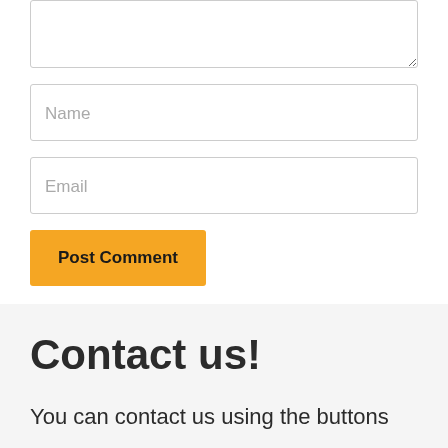[Figure (screenshot): Textarea input box (comment field), partially visible at top]
[Figure (screenshot): Name text input field with placeholder text 'Name']
[Figure (screenshot): Email text input field with placeholder text 'Email']
[Figure (screenshot): Orange 'Post Comment' submit button]
Contact us!
You can contact us using the buttons